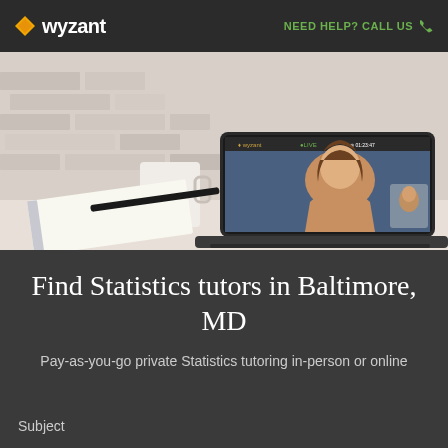wyzant   NEED HELP? CALL US
[Figure (screenshot): Hero image showing a laptop with a video tutoring session open on the Wyzant platform. A woman is visible on the laptop screen in a video call. A notebook, pen, and coffee mug are on the desk beside the laptop.]
Find Statistics tutors in Baltimore, MD
Pay-as-you-go private Statistics tutoring in-person or online
Subject